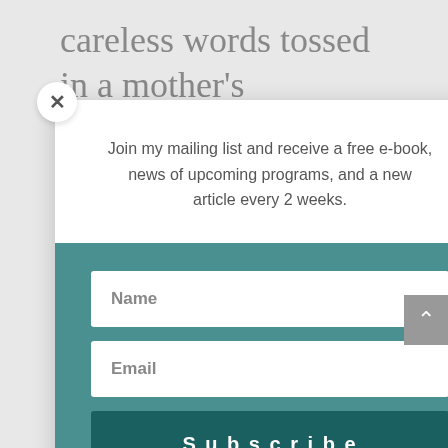careless words tossed in a mother's direction. And nobody tells you bout the sleepless nights when
[Figure (screenshot): Modal popup with close (x) button, mailing list signup text, name and email input fields, and a Subscribe button on a teal background]
Join my mailing list and receive a free e-book, news of upcoming programs, and a new article every 2 weeks.
Name
Email
Subscribe